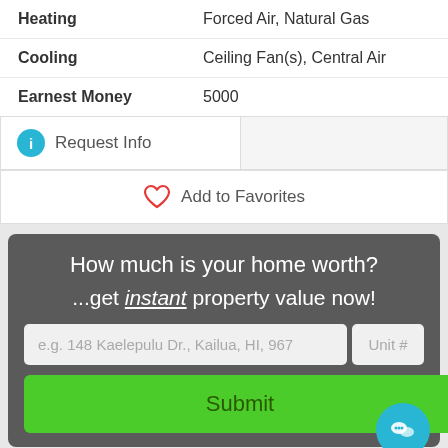| Property | Value |
| --- | --- |
| Heating | Forced Air, Natural Gas |
| Cooling | Ceiling Fan(s), Central Air |
| Earnest Money | 5000 |
Request Info
Add to Favorites
How much is your home worth?
...get instant property value now!
e.g. 148 Kaelepulu Dr., Kailua, HI, 967
Unit #
Submit